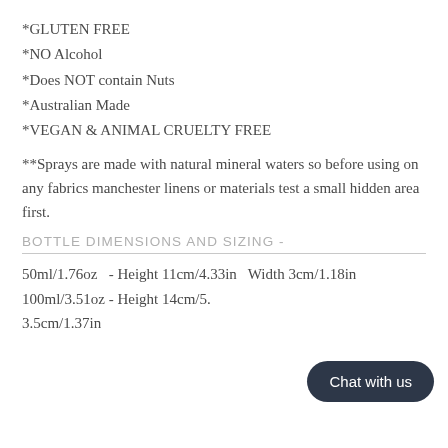*GLUTEN FREE
*NO Alcohol
*Does NOT contain Nuts
*Australian Made
*VEGAN & ANIMAL CRUELTY FREE
**Sprays are made with natural mineral waters so before using on any fabrics manchester linens or materials test a small hidden area first.
BOTTLE DIMENSIONS AND SIZING -
50ml/1.76oz  - Height 11cm/4.33in  Width 3cm/1.18in
100ml/3.51oz - Height 14cm/5.  3.5cm/1.37in